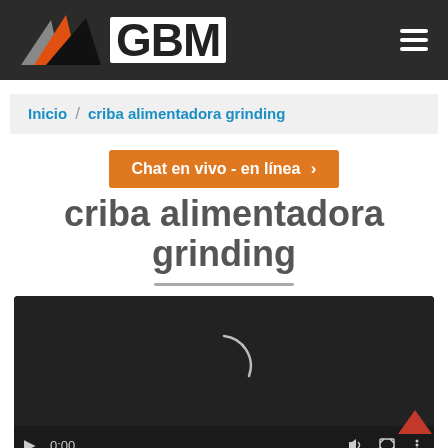[Figure (logo): GBM logo with mountain/triangle shapes in red, gray, and black on dark header background]
Inicio / criba alimentadora grinding
Chat en vivo - en línea ›
criba alimentadora grinding
[Figure (screenshot): Embedded video player with dark background, loading spinner arc visible, playback controls showing 0:00 timestamp, volume, fullscreen, and menu icons, with progress bar at bottom]